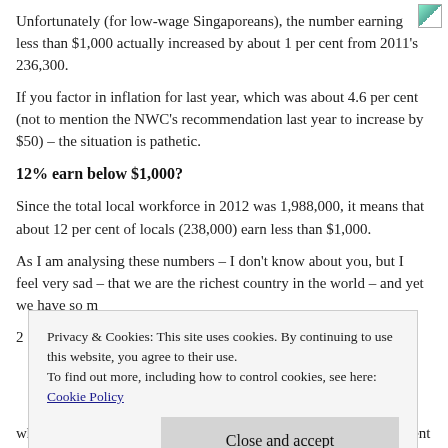Unfortunately (for low-wage Singaporeans), the number earning less than $1,000 actually increased by about 1 per cent from 2011's 236,300.
If you factor in inflation for last year, which was about 4.6 per cent (not to mention the NWC's recommendation last year to increase by $50) – the situation is pathetic.
12% earn below $1,000?
Since the total local workforce in 2012 was 1,988,000, it means that about 12 per cent of locals (238,000) earn less than $1,000.
As I am analysing these numbers – I don't know about you, but I feel very sad – that we are the richest country in the world – and yet we have so m[any people earning so little]
2[...]
Privacy & Cookies: This site uses cookies. By continuing to use this website, you agree to their use. To find out more, including how to control cookies, see here: Cookie Policy
Close and accept
who earn less than $1,500 was 454,600, which was about 23 per cent of